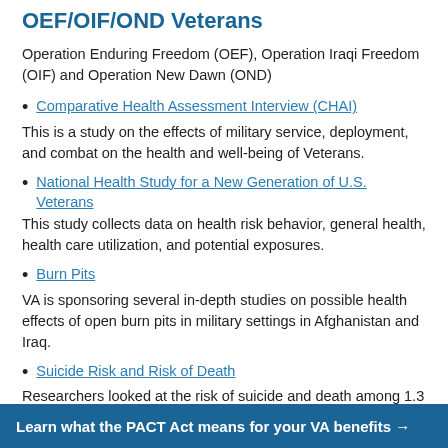OEF/OIF/OND Veterans
Operation Enduring Freedom (OEF), Operation Iraqi Freedom (OIF) and Operation New Dawn (OND)
Comparative Health Assessment Interview (CHAI)
This is a study on the effects of military service, deployment, and combat on the health and well-being of Veterans.
National Health Study for a New Generation of U.S. Veterans
This study collects data on health risk behavior, general health, health care utilization, and potential exposures.
Burn Pits
VA is sponsoring several in-depth studies on possible health effects of open burn pits in military settings in Afghanistan and Iraq.
Suicide Risk and Risk of Death
Researchers looked at the risk of suicide and death among 1.3 million Veterans who served in Iraq or Afghanistan between 2001-2007.
Learn what the PACT Act means for your VA benefits →